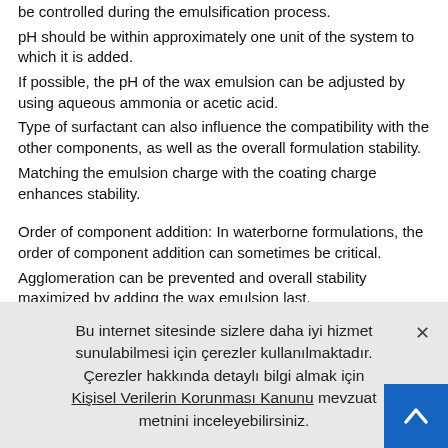be controlled during the emulsification process. pH should be within approximately one unit of the system to which it is added. If possible, the pH of the wax emulsion can be adjusted by using aqueous ammonia or acetic acid. Type of surfactant can also influence the compatibility with the other components, as well as the overall formulation stability. Matching the emulsion charge with the coating charge enhances stability.
Order of component addition: In waterborne formulations, the order of component addition can sometimes be critical. Agglomeration can be prevented and overall stability maximized by adding the wax emulsion last. A further dilution of the emulsion with soft or demineralized water before incorporation can sometimes reduce the shock too.
Bu internet sitesinde sizlere daha iyi hizmet sunulabilmesi için çerezler kullanılmaktadır. Çerezler hakkında detaylı bilgi almak için Kişisel Verilerin Korunması Kanunu mevzuat metnini inceleyebilirsiniz.